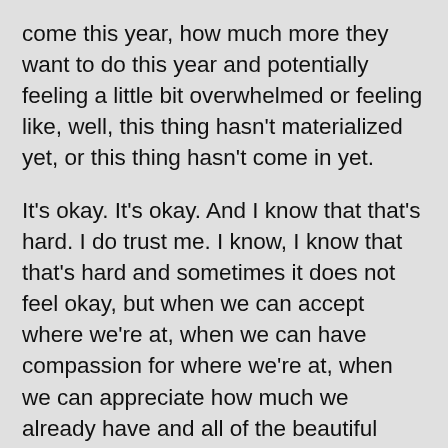come this year, how much more they want to do this year and potentially feeling a little bit overwhelmed or feeling like, well, this thing hasn't materialized yet, or this thing hasn't come in yet.
It's okay. It's okay. And I know that that's hard. I do trust me. I know, I know that that's hard and sometimes it does not feel okay, but when we can accept where we're at, when we can have compassion for where we're at, when we can appreciate how much we already have and all of the beautiful abundance that already is overflowing in our lives.
And when we can live in the present moment, as we express a desire, and then we release it, we let it go. There's such a deep sense of peace that can come